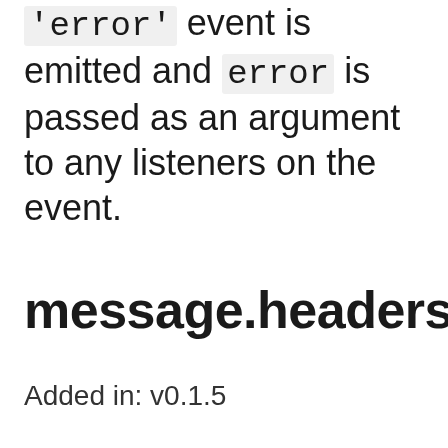'error' event is emitted and error is passed as an argument to any listeners on the event.
message.headers#
Added in: v0.1.5